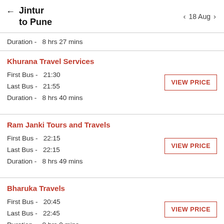← Jintur to Pune  ‹ 18 Aug ›
Duration - 8 hrs 27 mins
Khurana Travel Services
First Bus - 21:30
Last Bus - 21:55
Duration - 8 hrs 40 mins
Ram Janki Tours and Travels
First Bus - 22:15
Last Bus - 22:15
Duration - 8 hrs 49 mins
Bharuka Travels
First Bus - 20:45
Last Bus - 22:45
Duration - 8 hrs 0 mins